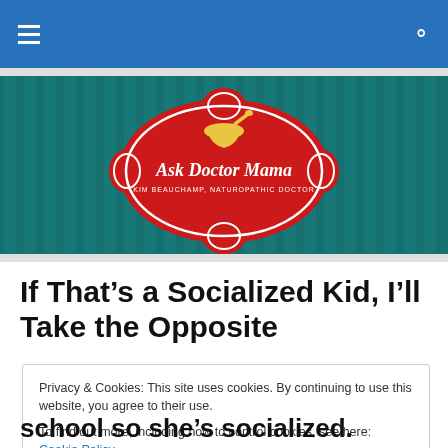Navigation bar with hamburger menu and search icon
[Figure (logo): Ask Doctor Mama logo — red decorative badge with cursive yellow text 'Ask Doctor Mama', subtitle 'Kim Beauchamp, Naturopathic Doctor', gold mortar and pestle icon, on teal striped background]
If That's a Socialized Kid, I'll Take the Opposite
Privacy & Cookies: This site uses cookies. By continuing to use this website, you agree to their use.
To find out more, including how to control cookies, see here: Cookie Policy
Close and accept
school so she's socialized.